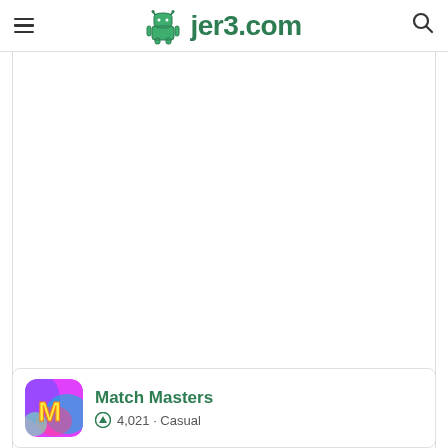jer3.com
[Figure (other): Large white blank content area - advertisement or image placeholder]
[Figure (illustration): Match Masters app icon - colorful swirling pink and blue background with yellow 'M' letter]
Match Masters
4,021 · Casual